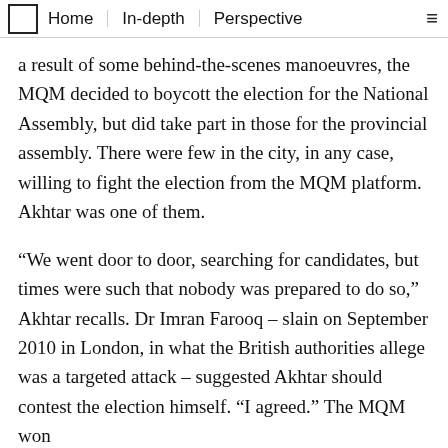Home | In-depth | Perspective
a result of some behind-the-scenes manoeuvres, the MQM decided to boycott the election for the National Assembly, but did take part in those for the provincial assembly. There were few in the city, in any case, willing to fight the election from the MQM platform. Akhtar was one of them.
“We went door to door, searching for candidates, but times were such that nobody was prepared to do so,” Akhtar recalls. Dr Imran Farooq – slain on September 2010 in London, in what the British authorities allege was a targeted attack – suggested Akhtar should contest the election himself. “I agreed.” The MQM won